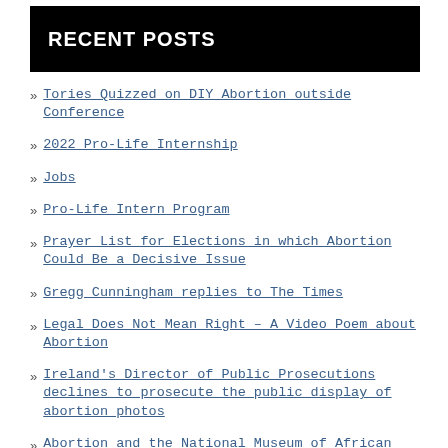RECENT POSTS
Tories Quizzed on DIY Abortion outside Conference
2022 Pro-Life Internship
Jobs
Pro-Life Intern Program
Prayer List for Elections in which Abortion Could Be a Decisive Issue
Gregg Cunningham replies to The Times
Legal Does Not Mean Right – A Video Poem about Abortion
Ireland's Director of Public Prosecutions declines to prosecute the public display of abortion photos
Abortion and the National Museum of African American History and Culture
CBR-UK Wins Against Sussex, UK Police